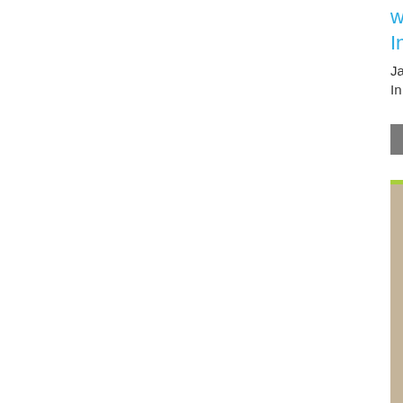wikiDeeks Exclusive Interview with Eric
January 27, 2020
In "Interviews"
#NCISLA
Eri
[Figure (photo): Close-up photo of a peacock head with blue-green plumage and crown feathers against a light background]
← Previous arti
71 Comments o